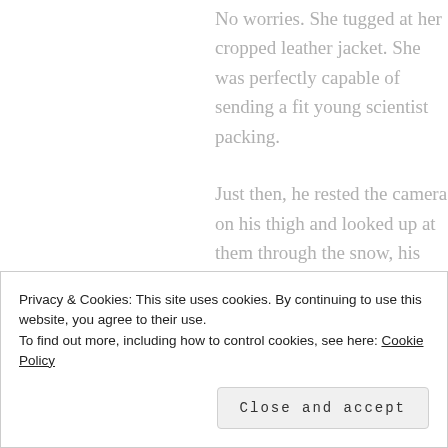No worries. She tugged at her cropped leather jacket. She was perfectly capable of sending a fit young scientist packing.
Just then, he rested the camera on his thigh and looked up at them through the snow, his gaze as dazzling as a burst of sunshine after a storm.
Alisha's knees almost gave way. Un…
Privacy & Cookies: This site uses cookies. By continuing to use this website, you agree to their use. To find out more, including how to control cookies, see here: Cookie Policy
Close and accept